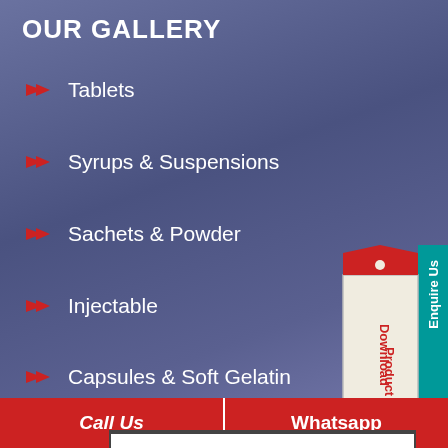OUR GALLERY
Tablets
Syrups & Suspensions
Sachets & Powder
Injectable
Capsules & Soft Gelatin
[Figure (other): Download Product List tag with red top notch and teal Enquire Us button on right side]
NAME
EMAIL
MOBILE
LOCATION
Call Us
Whatsapp